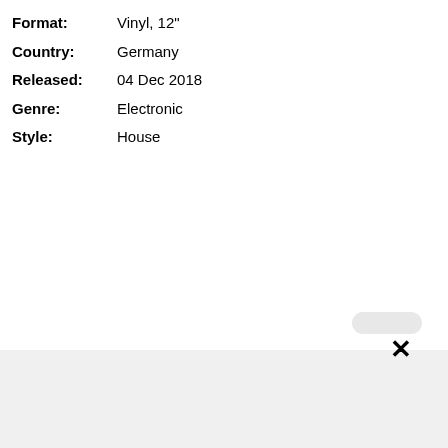Format: Vinyl, 12"
Country: Germany
Released: 04 Dec 2018
Genre: Electronic
Style: House
[Figure (other): Gray placeholder image area with a dismiss/close button (X) in the lower right corner and a small rounded bubble above it]